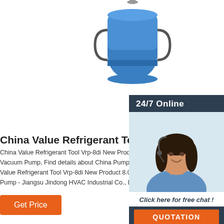[Figure (photo): Blue industrial vacuum pump / refrigerant tool, top portion visible]
[Figure (photo): 24/7 Online customer service representative with headset, smiling, in sidebar panel with dark header, chat prompt, and orange QUOTATION button]
China Value Refrigerant Tool Vrp-8di New Proc
China Value Refrigerant Tool Vrp-8di New Product 8. Vacuum Pump, Find details about China Pump, Vacu Value Refrigerant Tool Vrp-8di New Product 8.0cfm S Pump - Jiangsu Jindong HVAC Industrial Co., Ltd.
[Figure (illustration): Orange/brown 'Get Price' button]
[Figure (photo): Electrical control panel / switchgear cabinet, gray, with red indicator at top and controls visible]
[Figure (logo): Orange 'TOP' back-to-top button with dots arranged in an arch above the text]